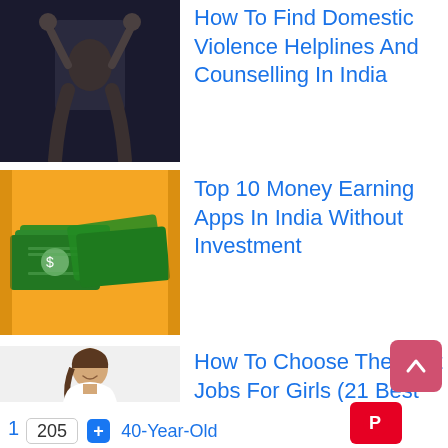[Figure (photo): Person with hands raised, dark background - domestic violence helpline article thumbnail]
How To Find Domestic Violence Helplines And Counselling In India
[Figure (photo): Money/cash bills on yellow background - money earning apps article thumbnail]
Top 10 Money Earning Apps In India Without Investment
[Figure (photo): Young woman in white outfit with arms crossed - best jobs for girls article thumbnail]
How To Choose The Best Jobs For Girls (21 Best Jobs For Women In India)
21 Real Online Work From Home Jobs Without Investment
1 205 40-Year-Old
share buttons: Pinterest, count 205, Plus